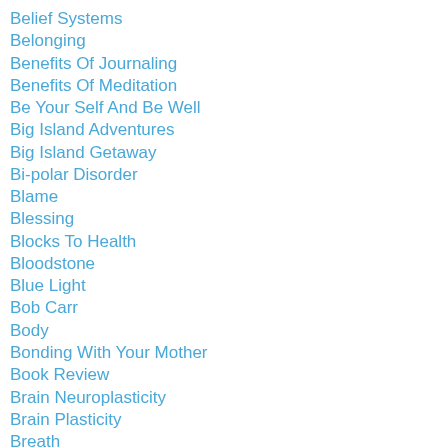Belief Systems
Belonging
Benefits Of Journaling
Benefits Of Meditation
Be Your Self And Be Well
Big Island Adventures
Big Island Getaway
Bi-polar Disorder
Blame
Blessing
Blocks To Health
Bloodstone
Blue Light
Bob Carr
Body
Bonding With Your Mother
Book Review
Brain Neuroplasticity
Brain Plasticity
Breath